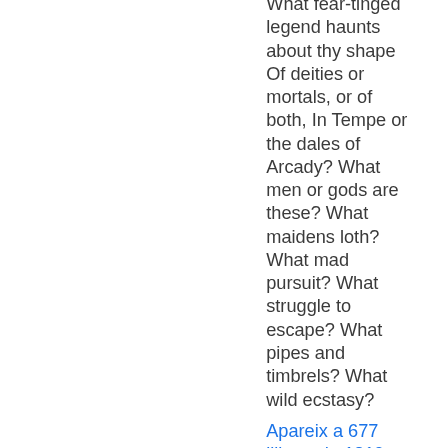What fear-tinged legend haunts about thy shape Of deities or mortals, or of both, In Tempe or the dales of Arcady? What men or gods are these? What maidens loth? What mad pursuit? What struggle to escape? What pipes and timbrels? What wild ecstasy?
Apareix a 677 llibres de 1819-2007
Pàgina 27 - A poet is the most unpoetical of any thing in existence, because he has no Identity — he is continually in for and filling some other Body — The Sun, the Moon, the Sea and Men and